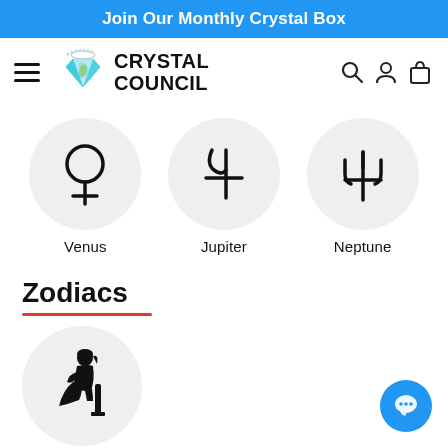Join Our Monthly Crystal Box
[Figure (logo): Crystal Council logo with crystal icon and text]
[Figure (illustration): Three planet symbols in circles: Venus (female symbol), Jupiter (2+ symbol), Neptune (trident symbol)]
Venus
Jupiter
Neptune
Zodiacs
[Figure (illustration): Zodiac circle icon showing a seated figure silhouette (Virgo)]
[Figure (other): Blue chat button in bottom right corner]